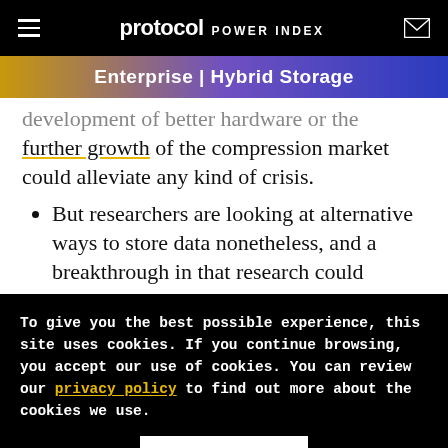protocol POWER INDEX
Enterprise | Hybrid Storage
development of better hardware or the further growth of the compression market could alleviate any kind of crisis.
But researchers are looking at alternative ways to store data nonetheless, and a breakthrough in that research could
To give you the best possible experience, this site uses cookies. If you continue browsing, you accept our use of cookies. You can review our privacy policy to find out more about the cookies we use.
Accept